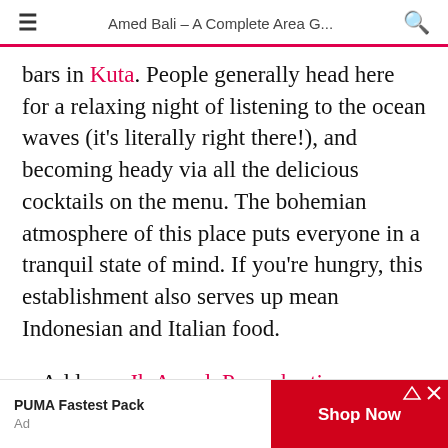Amed Bali – A Complete Area G...
bars in Kuta. People generally head here for a relaxing night of listening to the ocean waves (it's literally right there!), and becoming heady via all the delicious cocktails on the menu. The bohemian atmosphere of this place puts everyone in a tranquil state of mind. If you're hungry, this establishment also serves up mean Indonesian and Italian food.
Address: Jl. Amed, Purwakerti, Karangasem,
[Figure (other): Advertisement banner: PUMA Fastest Pack with Shop Now button]